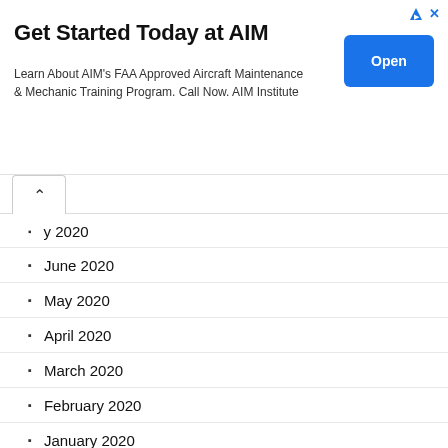[Figure (screenshot): Advertisement banner for AIM Institute. Title: 'Get Started Today at AIM'. Body text: 'Learn About AIM's FAA Approved Aircraft Maintenance & Mechanic Training Program. Call Now. AIM Institute'. Blue 'Open' button on right.]
July 2020 (partially visible, collapsed)
June 2020
May 2020
April 2020
March 2020
February 2020
January 2020
December 2019
November 2019
October 2019
September 2019
August 2019
July 2019